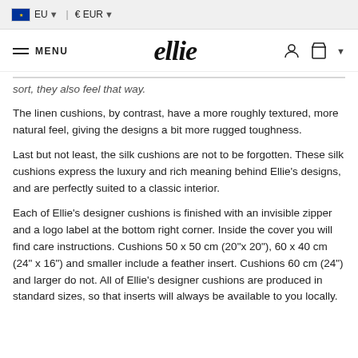EU  €EUR
MENU  ellie
sort, they also feel that way.
The linen cushions, by contrast, have a more roughly textured, more natural feel, giving the designs a bit more rugged toughness.
Last but not least, the silk cushions are not to be forgotten. These silk cushions express the luxury and rich meaning behind Ellie's designs, and are perfectly suited to a classic interior.
Each of Ellie's designer cushions is finished with an invisible zipper and a logo label at the bottom right corner. Inside the cover you will find care instructions. Cushions 50 x 50 cm (20"x 20"), 60 x 40 cm (24" x 16") and smaller include a feather insert. Cushions 60 cm (24") and larger do not. All of Ellie's designer cushions are produced in standard sizes, so that inserts will always be available to you locally.